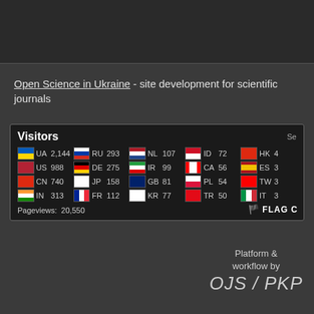Open Science in Ukraine - site development for scientific journals
[Figure (infographic): Flag Counter widget showing visitor statistics by country. Visitors header with country flags, 2-letter codes, and visitor counts. UA 2,144 | US 988 | CN 740 | IN 313 | RU 293 | DE 275 | JP 158 | FR 112 | NL 107 | IR 99 | GB 81 | KR 77 | ID 72 | CA 56 | PL 54 | TR 50 | HK [cut] | ES [cut] | TW [cut] | IT [cut]. Pageviews: 20,550. FLAG Counter logo bottom right.]
Platform & workflow by OJS / PKP